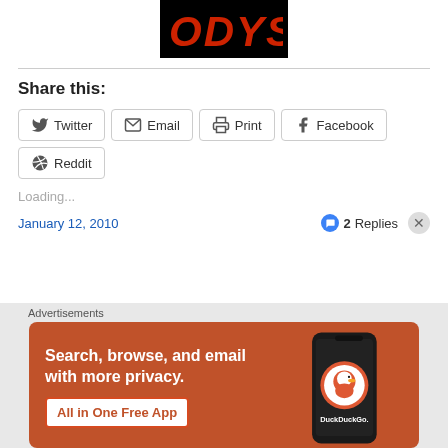[Figure (logo): ODYSSEY logo in red letters on black background]
Share this:
Twitter | Email | Print | Facebook | Reddit (share buttons)
Loading...
January 12, 2010
2 Replies
Advertisements
[Figure (screenshot): DuckDuckGo advertisement: Search, browse, and email with more privacy. All in One Free App. Shows phone with DuckDuckGo app.]